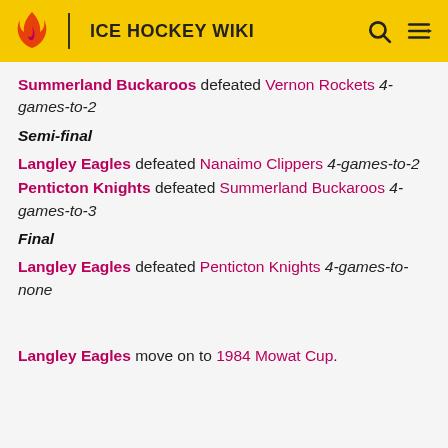ICE HOCKEY WIKI
Summerland Buckaroos defeated Vernon Rockets 4-games-to-2
Semi-final
Langley Eagles defeated Nanaimo Clippers 4-games-to-2
Penticton Knights defeated Summerland Buckaroos 4-games-to-3
Final
Langley Eagles defeated Penticton Knights 4-games-to-none
Langley Eagles move on to 1984 Mowat Cup.